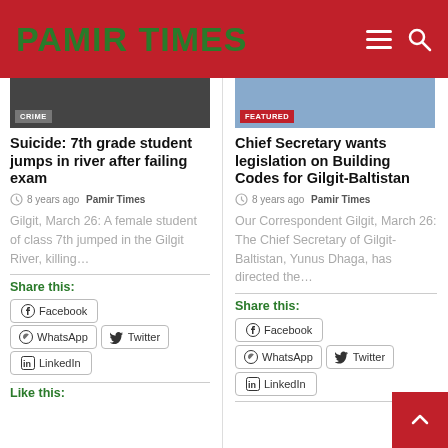PAMIR TIMES
Suicide: 7th grade student jumps in river after failing exam
8 years ago  Pamir Times
Gilgit, March 26: A female student of class 7th jumped in the Gilgit River, killing…
Share this:
Facebook  WhatsApp  Twitter  LinkedIn
Like this:
Chief Secretary wants legislation on Building Codes for Gilgit-Baltistan
8 years ago  Pamir Times
Our Correspondent Gilgit, March 26: The Chief Secretary of Gilgit-Baltistan, Yunus Dhaga, has directed the…
Share this:
Facebook  WhatsApp  Twitter  LinkedIn